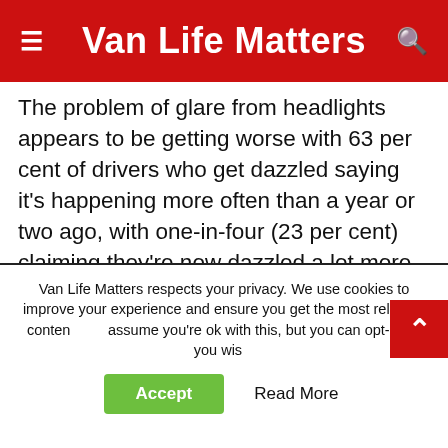Van Life Matters
The problem of glare from headlights appears to be getting worse with 63 per cent of drivers who get dazzled saying it's happening more often than a year or two ago, with one-in-four (23 per cent) claiming they're now dazzled a lot more regularly.
And, of all of those who believe headlights are too bright, a huge 64 per cent think they risk causing other drivers to have collisions while
Van Life Matters respects your privacy. We use cookies to improve your experience and ensure you get the most relevant content. We assume you're ok with this, but you can opt-out if you wish.